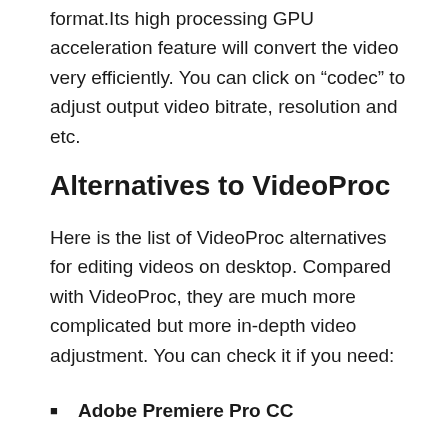format.Its high processing GPU acceleration feature will convert the video very efficiently. You can click on “codec” to adjust output video bitrate, resolution and etc.
Alternatives to VideoProc
Here is the list of VideoProc alternatives for editing videos on desktop. Compared with VideoProc, they are much more complicated but more in-depth video adjustment. You can check it if you need:
Adobe Premiere Pro CC
Final Cut Pro X
DaVinci Resolve